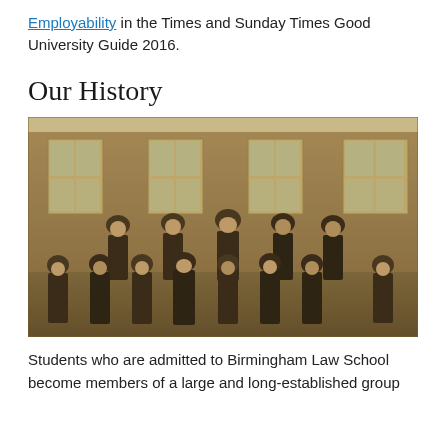Employability in the Times and Sunday Times Good University Guide 2016.
Our History
[Figure (photo): A historical sepia-toned group photograph of academics and dignitaries in graduation robes and mortarboard hats, posed in front of a brick building with large windows. Two rows: standing row of five men at the back, seated row of eight individuals at the front.]
Students who are admitted to Birmingham Law School become members of a large and long-established group